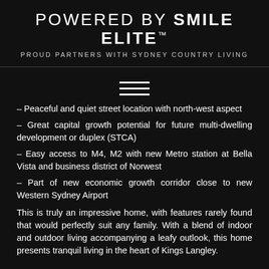POWERED BY SMILE ELITE™
PROUD PARTNERS WITH SYDNEY COUNTRY LIVING
[Figure (other): Three horizontal lines (hamburger/menu icon)]
– Peaceful and quiet street location with north-west aspect
– Great capital growth potential for future multi-dwelling development or duplex (STCA)
– Easy access to M4, M2 with new Metro station at Bella Vista and business district of Norwest
– Part of new economic growth corridor close to new Western Sydney Airport
This is truly an impressive home, with features rarely found that would perfectly suit any family. With a blend of indoor and outdoor living accompanying a leafy outlook, this home presents tranquil living in the heart of Kings Langley.